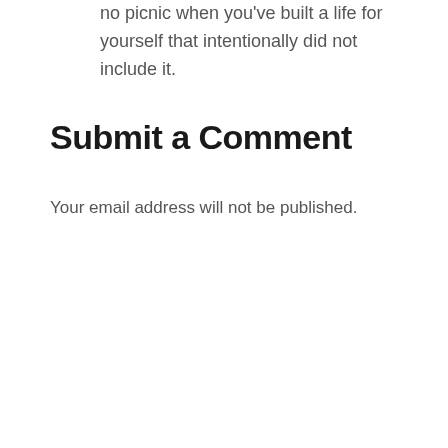no picnic when you've built a life for yourself that intentionally did not include it.
Submit a Comment
Your email address will not be published.
[Figure (screenshot): Comment text input area with placeholder text 'Comment' and a resize handle at the bottom right, with a gray scroll-to-top button on the right edge.]